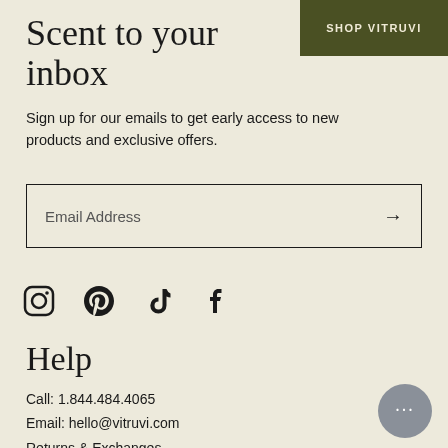Scent to your inbox
Sign up for our emails to get early access to new products and exclusive offers.
Email Address →
[Figure (illustration): Social media icons: Instagram, Pinterest, TikTok, Facebook]
Help
Call: 1.844.484.4065
Email: hello@vitruvi.com
Returns & Exchanges
Frequently Asked Questions
[Figure (illustration): Chat support bubble with ellipsis dots]